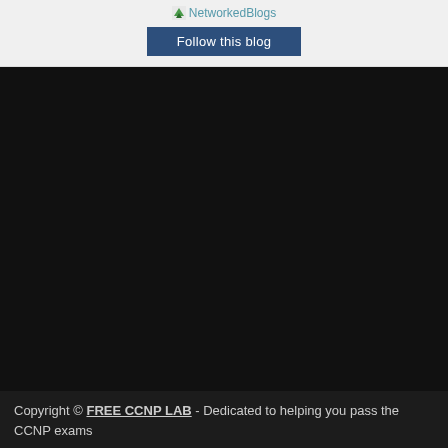[Figure (screenshot): NetworkedBlogs widget showing logo text and Follow this blog button]
Copyright © FREE CCNP LAB - Dedicated to helping you pass the CCNP exams